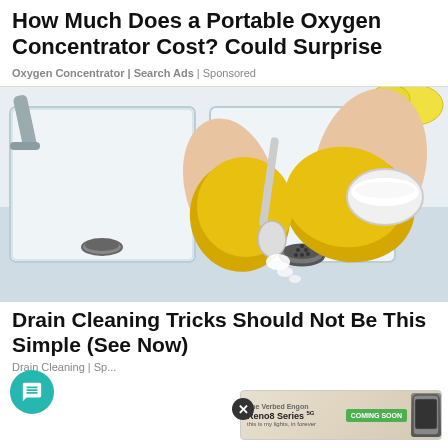How Much Does a Portable Oxygen Concentrator Cost? Could Surprise
Oxygen Concentrator | Search Ads | Sponsored
[Figure (photo): Person wearing yellow rubber gloves pouring white powder (baking soda) from a spoon into a kitchen sink drain, with a bowl of white powder held in other hand. White double sink with gray faucet visible, lemon in background.]
Drain Cleaning Tricks Should Not Be This Simple (See Now)
Drain Cleaning | Sp...